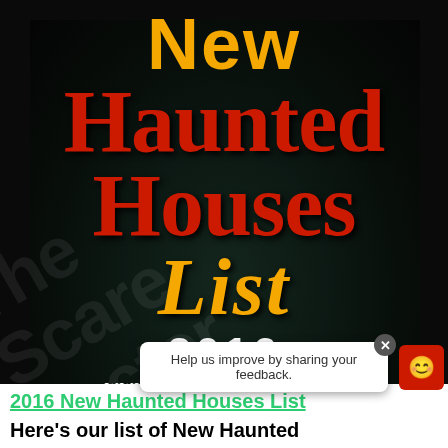New Haunted Houses List 2016 www.TheScareFactor.com
2016 New Haunted Houses List
[Figure (other): Tooltip popup overlay with close button (x) and text: Help us improve by sharing your feedback. Red emoji icon to right.]
Here's our list of New Haunted